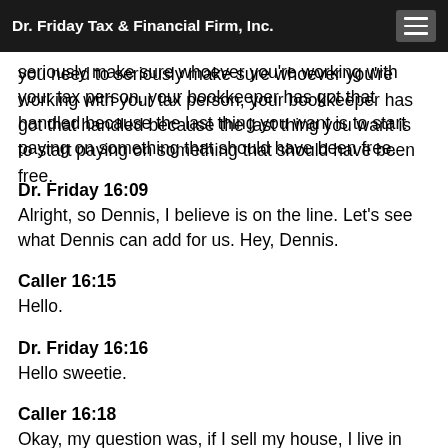Dr. Friday Tax & Financial Firm, Inc.
supposed to be forgiven so that we don't have to take it on as a loan. If you haven't done that, then you need to seriously make sure whoever you're working with your tax person, your bookkeeper has got that handled because the last thing you want is to start paying on something that should have been free.
Dr. Friday 16:09
Alright, so Dennis, I believe is on the line. Let's see what Dennis can add for us. Hey, Dennis.
Caller 16:15
Hello.
Dr. Friday 16:16
Hello sweetie.
Caller 16:18
Okay, my question was, if I sell my house, I live in Florida. I don't know how different the laws are. I'm just passing